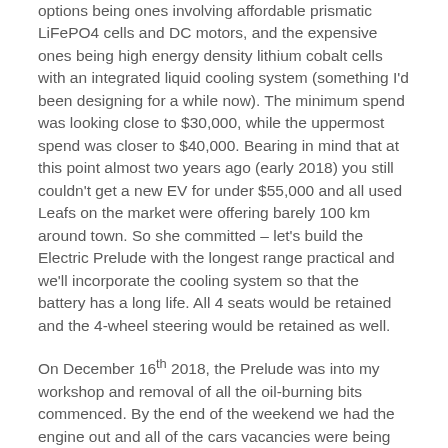options being ones involving affordable prismatic LiFePO4 cells and DC motors, and the expensive ones being high energy density lithium cobalt cells with an integrated liquid cooling system (something I'd been designing for a while now).  The minimum spend was looking close to $30,000, while the uppermost spend was closer to $40,000.   Bearing in mind that at this point almost two years ago (early 2018) you still couldn't get a new EV for under $55,000 and all used Leafs on the market were offering barely 100 km around town.  So she committed – let's build the Electric Prelude with the longest range practical and we'll incorporate the cooling system so that the battery has a long life.  All 4 seats would be retained and the 4-wheel steering would be retained as well.
On December 16th 2018, the Prelude was into my workshop and removal of all the oil-burning bits commenced.  By the end of the weekend we had the engine out and all of the cars vacancies were being